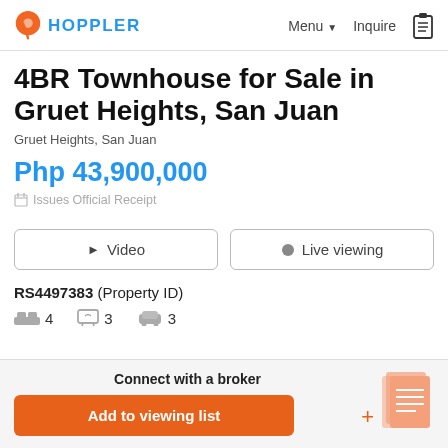HOPPLER  Menu  Inquire
4BR Townhouse for Sale in Gruet Heights, San Juan
Gruet Heights, San Juan
Php 43,900,000
Issues Official Receipt
Video  Live viewing
RS4497383 (Property ID)
4  3  3
Connect with a broker  Add to viewing list